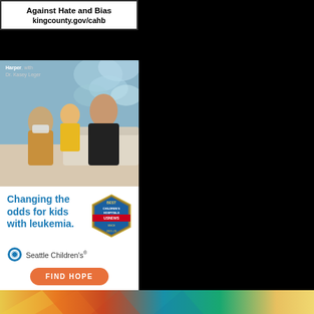[Figure (other): King County ad with bold text 'Against Hate and Bias' and URL 'kingcounty.gov/cahb' on white background]
[Figure (photo): Seattle Children's Hospital advertisement showing a child named Harper with Dr. Kasey Leger, text 'Changing the odds for kids with leukemia.', Seattle Children's logo, Best Children's Hospitals US News badge, FIND HOPE button, and a photo of Harper living cancer-free in a pool]
[Figure (illustration): Colorful bottom strip with abstract sun/ray design in yellow, orange, red, teal, green colors]